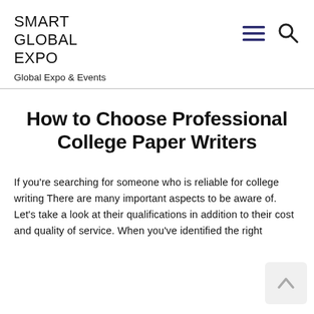SMART GLOBAL EXPO
Global Expo & Events
How to Choose Professional College Paper Writers
If you're searching for someone who is reliable for college writing There are many important aspects to be aware of. Let's take a look at their qualifications in addition to their cost and quality of service. When you've identified the right